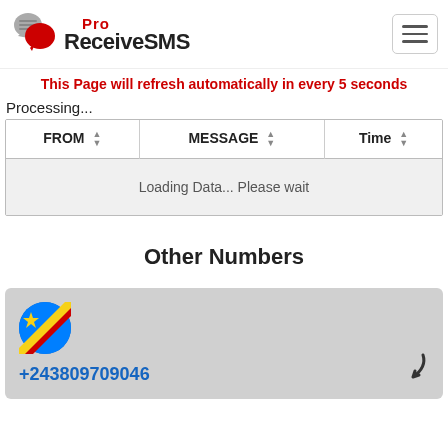Pro ReceiveSMS
This Page will refresh automatically in every 5 seconds
Processing...
| FROM | MESSAGE | Time |
| --- | --- | --- |
| Loading Data... Please wait |
Other Numbers
+243809709046